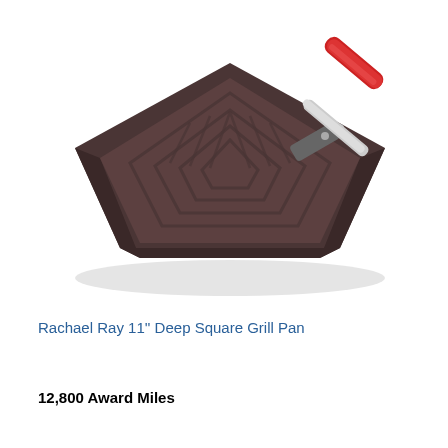[Figure (photo): A Rachael Ray 11-inch deep square grill pan with dark gray/brown non-stick surface, grill ridges pattern on the cooking surface, silver handle hardware, and a red silicone grip handle extending to the upper right.]
Rachael Ray 11'' Deep Square Grill Pan
12,800 Award Miles